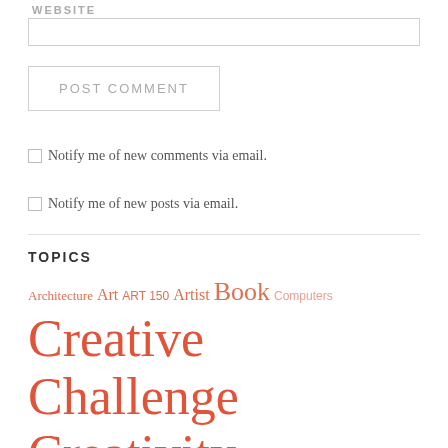WEBSITE
POST COMMENT
Notify me of new comments via email.
Notify me of new posts via email.
TOPICS
Architecture Art ART 150 Artist Book Computers Creative Challenge Creativity Design Digital Media Drink Education FA 101 Food Gallery Image List Music Philosophy Photography Possibilities